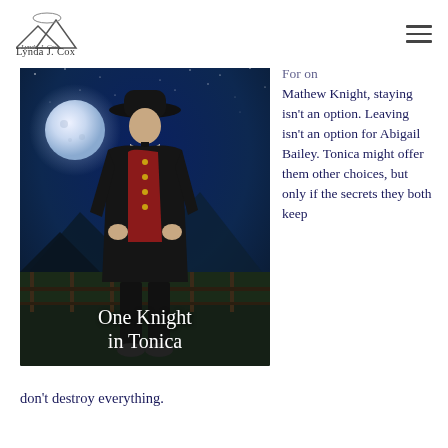Lynda J. Cox
[Figure (photo): Book cover for 'One Knight in Tonica' showing a man in a black coat, red vest, and black cowboy hat standing under a full moon with a starry night sky background]
For Mathew Knight, staying isn't an option. Leaving isn't an option for Abigail Bailey. Tonica might offer them other choices, but only if the secrets they both keep don't destroy everything.